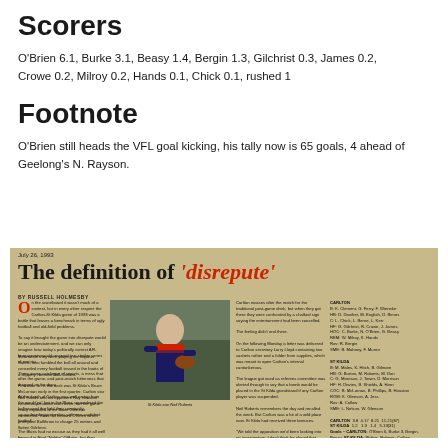Scorers
O'Brien 6.1, Burke 3.1, Beasy 1.4, Bergin 1.3, Gilchrist 0.3, James 0.2, Crowe 0.2, Milroy 0.2, Hands 0.1, Chick 0.1, rushed 1
Footnote
O'Brien still heads the VFL goal kicking, his tally now is 65 goals, 4 ahead of Geelong's N. Rayson.
[Figure (photo): Scanned newspaper article titled 'The definition of disrepute' dated July 26, 1993, by Russell Holmesby, showing a player holding a football, with multiple columns of text describing a Carlton vs St Kilda game controversy.]